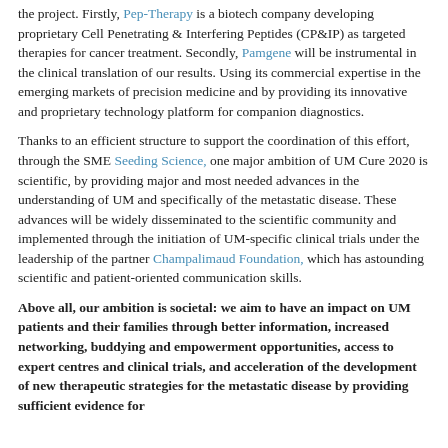the project. Firstly, Pep-Therapy is a biotech company developing proprietary Cell Penetrating & Interfering Peptides (CP&IP) as targeted therapies for cancer treatment. Secondly, Pamgene will be instrumental in the clinical translation of our results. Using its commercial expertise in the emerging markets of precision medicine and by providing its innovative and proprietary technology platform for companion diagnostics.
Thanks to an efficient structure to support the coordination of this effort, through the SME Seeding Science, one major ambition of UM Cure 2020 is scientific, by providing major and most needed advances in the understanding of UM and specifically of the metastatic disease. These advances will be widely disseminated to the scientific community and implemented through the initiation of UM-specific clinical trials under the leadership of the partner Champalimaud Foundation, which has astounding scientific and patient-oriented communication skills.
Above all, our ambition is societal: we aim to have an impact on UM patients and their families through better information, increased networking, buddying and empowerment opportunities, access to expert centres and clinical trials, and acceleration of the development of new therapeutic strategies for the metastatic disease by providing sufficient evidence for